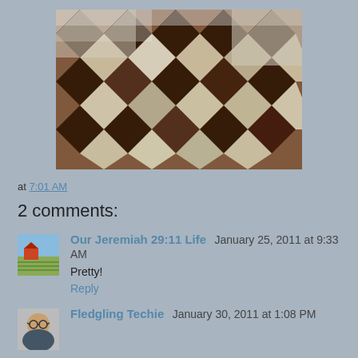[Figure (photo): A quilt made of brown and cream/white diamond-shaped fabric patches arranged in a diagonal pattern, photographed on a table with natural light. Some patches have patterns including checks, dots, and small prints.]
at 7:01 AM
2 comments:
Our Jeremiah 29:11 Life  January 25, 2011 at 9:33 AM
Pretty!
Reply
Fledgling Techie  January 30, 2011 at 1:08 PM